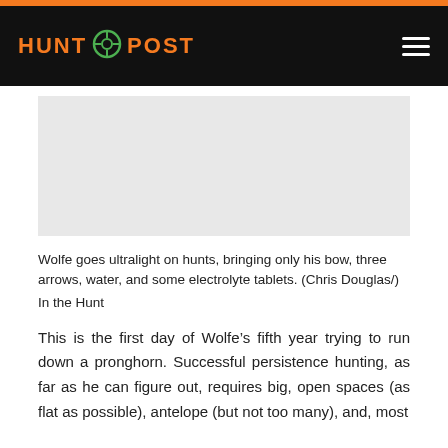HUNT POST
[Figure (photo): Gray placeholder image area representing a photo of Wolfe on a hunt]
Wolfe goes ultralight on hunts, bringing only his bow, three arrows, water, and some electrolyte tablets. (Chris Douglas/)
In the Hunt
This is the first day of Wolfe’s fifth year trying to run down a pronghorn. Successful persistence hunting, as far as he can figure out, requires big, open spaces (as flat as possible), antelope (but not too many), and, most